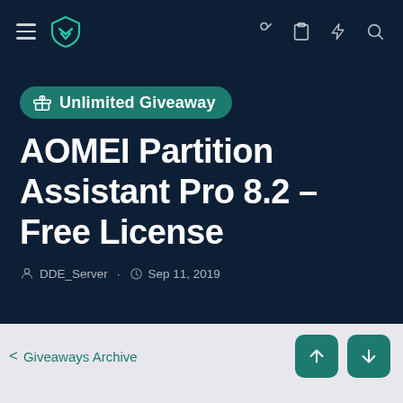[Figure (screenshot): Mobile app navigation bar with hamburger menu, teal shield logo, and icons for key, clipboard, lightning bolt, and search on dark navy background]
🎁 Unlimited Giveaway
AOMEI Partition Assistant Pro 8.2 - Free License
DDE_Server · Sep 11, 2019
< Giveaways Archive